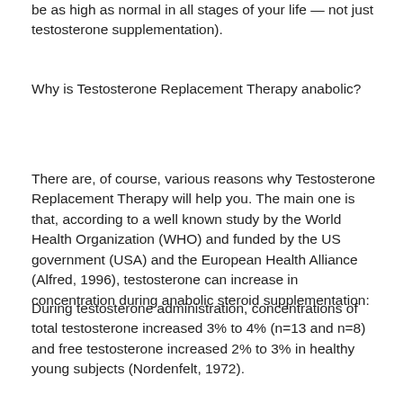be as high as normal in all stages of your life — not just testosterone supplementation).
Why is Testosterone Replacement Therapy anabolic?
There are, of course, various reasons why Testosterone Replacement Therapy will help you. The main one is that, according to a well known study by the World Health Organization (WHO) and funded by the US government (USA) and the European Health Alliance (Alfred, 1996), testosterone can increase in concentration during anabolic steroid supplementation:
During testosterone administration, concentrations of total testosterone increased 3% to 4% (n=13 and n=8) and free testosterone increased 2% to 3% in healthy young subjects (Nordenfelt, 1972).